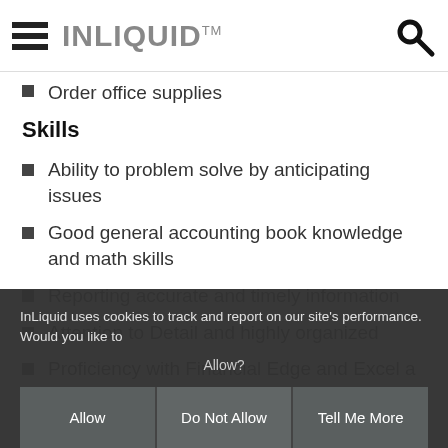INLIQUID™
Order office supplies
Skills
Ability to problem solve by anticipating issues
Good general accounting book knowledge and math skills
Reporting accurate and timely information
Attention to Detail and highly organized
Proficiency with Financial Edge and Excel a plus
Deadline Oriented and ability to work under
InLiquid uses cookies to track and report on our site's performance. Would you like to Allow?
Allow | Do Not Allow | Tell Me More